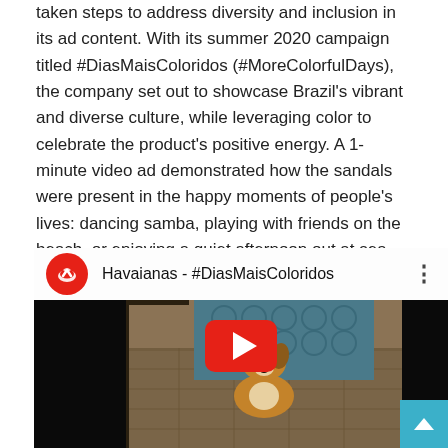taken steps to address diversity and inclusion in its ad content. With its summer 2020 campaign titled #DiasMaisColoridos (#MoreColorfulDays), the company set out to showcase Brazil's vibrant and diverse culture, while leveraging color to celebrate the product's positive energy. A 1-minute video ad demonstrated how the sandals were present in the happy moments of people's lives: dancing samba, playing with friends on the beach, or enjoying a quiet afternoon out at sea.
[Figure (screenshot): YouTube video embed showing Havaianas #DiasMaisColoridos campaign video. The thumbnail shows a dog sitting in a doorway with a patterned floor. A large red YouTube play button is centered over the video. The top bar shows the Havaianas logo (red circle with flip-flop icon) and the title 'Havaianas - #DiasMaisColoridos'. A blue scroll-to-top button appears in the bottom-right corner.]